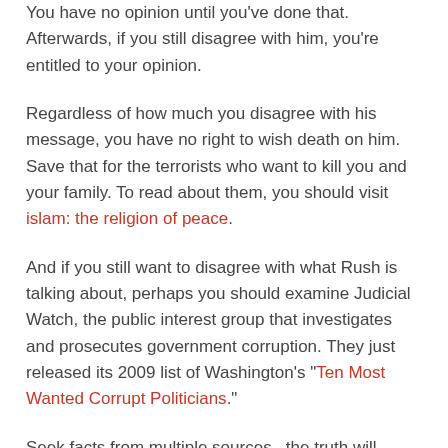You have no opinion until you've done that. Afterwards, if you still disagree with him, you're entitled to your opinion.
Regardless of how much you disagree with his message, you have no right to wish death on him. Save that for the terrorists who want to kill you and your family. To read about them, you should visit islam: the religion of peace.
And if you still want to disagree with what Rush is talking about, perhaps you should examine Judicial Watch, the public interest group that investigates and prosecutes government corruption. They just released its 2009 list of Washington's "Ten Most Wanted Corrupt Politicians."
Seek facts from multiple sources...the truth will always be revealed.